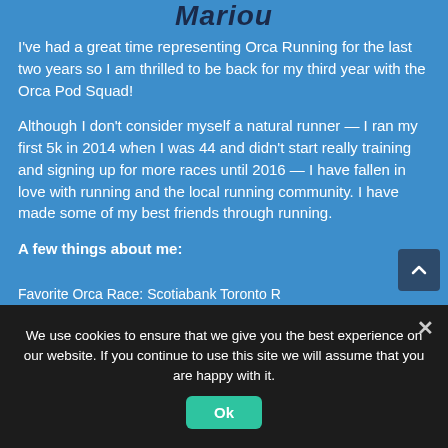Mariou
I've had a great time representing Orca Running for the last two years so I am thrilled to be back for my third year with the Orca Pod Squad!
Although I don't consider myself a natural runner — I ran my first 5k in 2014 when I was 44 and didn't start really training and signing up for more races until 2016 — I have fallen in love with running and the local running community. I have made some of my best friends through running.
A few things about me:
Favorite Orca Race: Scotiabank Toronto...
We use cookies to ensure that we give you the best experience on our website. If you continue to use this site we will assume that you are happy with it.